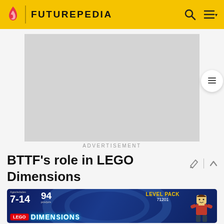FUTUREPEDIA
[Figure (screenshot): Advertisement placeholder — grey rectangle]
ADVERTISEMENT
BTTF's role in LEGO Dimensions
[Figure (photo): LEGO Dimensions Level Pack 71201 product packaging showing ages 7-14, 94 pcs/pzs, with a LEGO minifigure and the LEGO Dimensions logo]